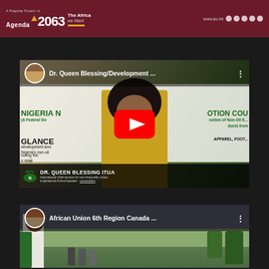A Flagship Project of Agenda 2063 The Africa we Want — www.au.int
[Figure (screenshot): YouTube video thumbnail showing Dr. Queen Blessing Itua being interviewed at the Nigeria Export Promotion Council (NEPC). She wears a yellow outfit. A red YouTube play button is visible. Text overlays show 'NIGERIA N... OTION COU', 'A Federal Go... notion of Non-Oil E... ducts from', 'GLANCE', 'APPAREL, FOOT...', 'Development and Nigeria's non-oil', 'noting the ... d relati'. Lower-third shows 'NEPC' logo and 'DR. QUEEN BLESSING ITUA' nameplate.]
Dr. Queen Blessing/Development ...
[Figure (screenshot): YouTube video preview showing African Union 6th Region Canada event. A man in a white shirt stands at left. Background shows people gathered outdoors near trees.]
African Union 6th Region Canada ...